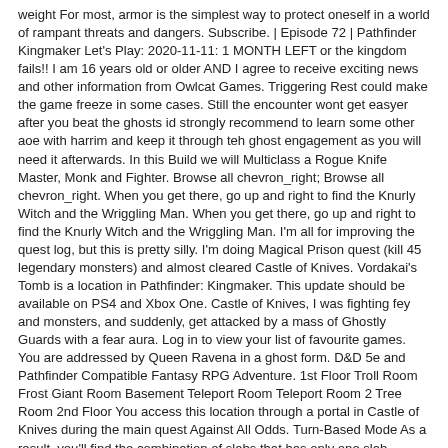weight For most, armor is the simplest way to protect oneself in a world of rampant threats and dangers. Subscribe. | Episode 72 | Pathfinder Kingmaker Let's Play: 2020-11-11: 1 MONTH LEFT or the kingdom fails!! I am 16 years old or older AND I agree to receive exciting news and other information from Owlcat Games. Triggering Rest could make the game freeze in some cases. Still the encounter wont get easyer after you beat the ghosts id strongly recommend to learn some other aoe with harrim and keep it through teh ghost engagement as you will need it afterwards. In this Build we will Multiclass a Rogue Knife Master, Monk and Fighter. Browse all chevron_right; Browse all chevron_right. When you get there, go up and right to find the Knurly Witch and the Wriggling Man. When you get there, go up and right to find the Knurly Witch and the Wriggling Man. I'm all for improving the quest log, but this is pretty silly. I'm doing Magical Prison quest (kill 45 legendary monsters) and almost cleared Castle of Knives. Vordakai's Tomb is a location in Pathfinder: Kingmaker. This update should be available on PS4 and Xbox One. Castle of Knives, I was fighting fey and monsters, and suddenly, get attacked by a mass of Ghostly Guards with a fear aura. Log in to view your list of favourite games. You are addressed by Queen Ravena in a ghost form. D&D 5e and Pathfinder Compatible Fantasy RPG Adventure. 1st Floor Troll Room Frost Giant Room Basement Teleport Room Teleport Room 2 Tree Room 2nd Floor You access this location through a portal in Castle of Knives during the main quest Against All Odds. Turn-Based Mode As a result, you'll find the combination of slabs that has only one slab vertically. Ghosts get bodied by Sirocco/Undeath to Death. Quests Fixed the issue, which made it impossible to complete A Randle Calling quest if several conditions